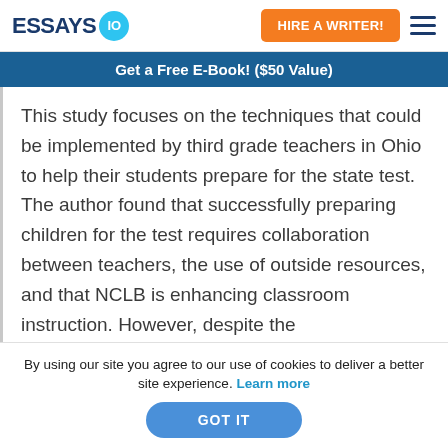[Figure (logo): Essays.io logo with speech bubble icon containing '10']
HIRE A WRITER!
Get a Free E-Book! ($50 Value)
This study focuses on the techniques that could be implemented by third grade teachers in Ohio to help their students prepare for the state test. The author found that successfully preparing children for the test requires collaboration between teachers, the use of outside resources, and that NCLB is enhancing classroom instruction. However, despite the
By using our site you agree to our use of cookies to deliver a better site experience. Learn more
GOT IT